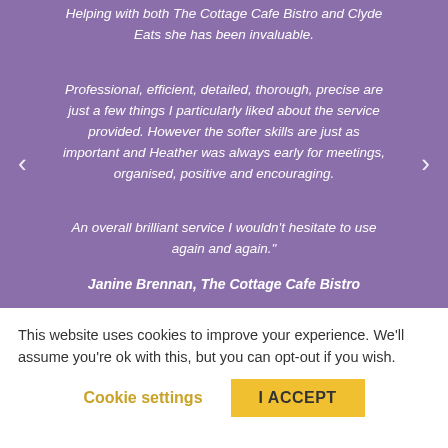Helping with both The Cottage Cafe Bistro and Clyde Eats she has been invaluable.
Professional, efficient, detailed, thorough, precise are just a few things I particularly liked about the service provided. However the softer skills are just as important and Heather was always early for meetings, organised, positive and encouraging.
An overall brilliant service I wouldn't hesitate to use again and again."
Janine Brennan, The Cottage Cafe Bistro
This website uses cookies to improve your experience. We'll assume you're ok with this, but you can opt-out if you wish.
Cookie settings | I ACCEPT